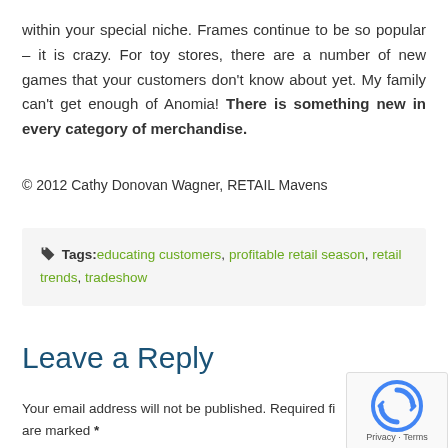within your special niche. Frames continue to be so popular – it is crazy. For toy stores, there are a number of new games that your customers don't know about yet. My family can't get enough of Anomia! There is something new in every category of merchandise.
© 2012 Cathy Donovan Wagner, RETAIL Mavens
Tags: educating customers, profitable retail season, retail trends, tradeshow
Leave a Reply
Your email address will not be published. Required fields are marked *